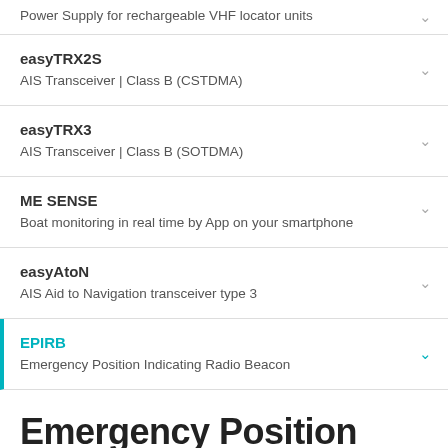Power Supply for rechargeable VHF locator units
easyTRX2S — AIS Transceiver | Class B (CSTDMA)
easyTRX3 — AIS Transceiver | Class B (SOTDMA)
ME SENSE — Boat monitoring in real time by App on your smartphone
easyAtoN — AIS Aid to Navigation transceiver type 3
EPIRB — Emergency Position Indicating Radio Beacon
Emergency Position